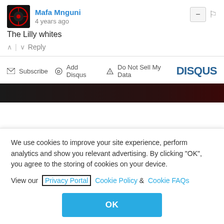Mafa Mnguni
4 years ago
The Lilly whites
^ | v Reply
Subscribe  Add Disqus  Do Not Sell My Data  DISQUS
[Figure (photo): Dark banner strip with red gradient]
We use cookies to improve your site experience, perform analytics and show you relevant advertising. By clicking "OK", you agree to the storing of cookies on your device. View our Privacy Portal  Cookie Policy &  Cookie FAQs
OK